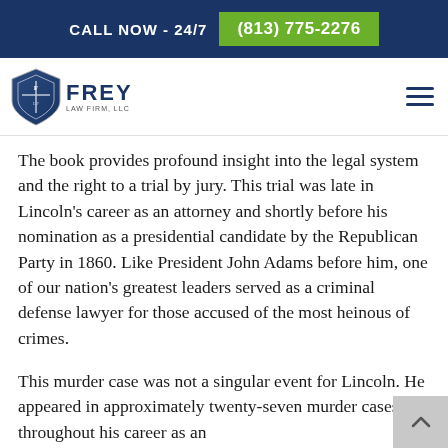CALL NOW - 24/7   (813) 775-2276
[Figure (logo): Frey Law Firm LLC logo with shield emblem and firm name]
The book provides profound insight into the legal system and the right to a trial by jury. This trial was late in Lincoln’s career as an attorney and shortly before his nomination as a presidential candidate by the Republican Party in 1860. Like President John Adams before him, one of our nation’s greatest leaders served as a criminal defense lawyer for those accused of the most heinous of crimes.
This murder case was not a singular event for Lincoln. He appeared in approximately twenty-seven murder cases throughout his career as an